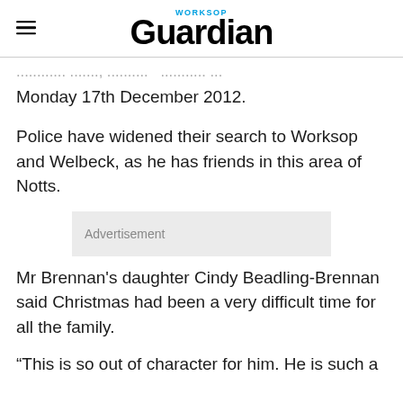Worksop Guardian
... on Monday 17th December 2012.
Police have widened their search to Worksop and Welbeck, as he has friends in this area of Notts.
Advertisement
Mr Brennan's daughter Cindy Beadling-Brennan said Christmas had been a very difficult time for all the family.
“This is so out of character for him. He is such a